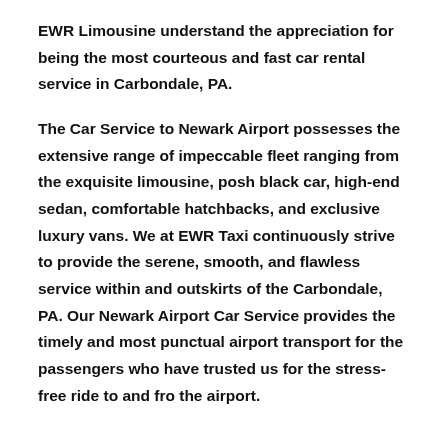EWR Limousine understand the appreciation for being the most courteous and fast car rental service in Carbondale, PA.
The Car Service to Newark Airport possesses the extensive range of impeccable fleet ranging from the exquisite limousine, posh black car, high-end sedan, comfortable hatchbacks, and exclusive luxury vans. We at EWR Taxi continuously strive to provide the serene, smooth, and flawless service within and outskirts of the Carbondale, PA. Our Newark Airport Car Service provides the timely and most punctual airport transport for the passengers who have trusted us for the stress-free ride to and fro the airport.